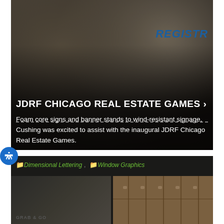[Figure (photo): Dark-toned photo of people at a registration desk event, with a blue 'REGISTR...' banner visible on the right side. People appear to be looking down at papers.]
JDRF CHICAGO REAL ESTATE GAMES ›
Foam core signs and banner stands to wind-resistant signage, Cushing was excited to assist with the inaugural JDRF Chicago Real Estate Games.
[Figure (photo): Bottom card showing category tags 'Dimensional Lettering' and 'Window Graphics', with a split image: left showing a 'GRAB & GO' sign, right showing wooden locker or cabinet doors.]